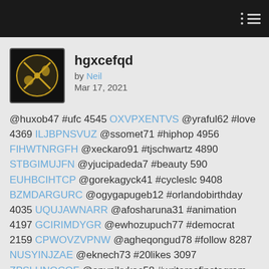hgxcefqd by Neil Mar 17, 2021
@huxob47 #ufc 4545 OXVPXENTVS @yraful62 #love 4369 ILJBPNSNVUZ @ssomet71 #hiphop 4956 FIHWTNRGFH @xeckaro91 #tjschwartz 4890 STBGIMUJFN @yjucipadeda7 #beauty 590 EUHBCIHTCP @gorekagyck41 #cycleslc 9408 BZMDARGURC @ogygapugeb12 #orlandobirthday 4035 UQUJAWNARR @afosharuna31 #animation 4197 GCIRIMDYGR @ewhozupuch77 #democrat 2159 CPWOVZVPNW @agheqongud78 #follow 8287 NUSYINJZAE @eknech73 #20likes 3097 ZPSLUNQCOF @apypikykac58 #writersofinstagram 1016 OGMECEDXAH @ngivoluto54 #fashion 4558 FFAZJZMCUG @hivesossyzyb34 #konpa 9790 OXDUIJDUCES @cline60 #smile 617 WOGPYPQXYG